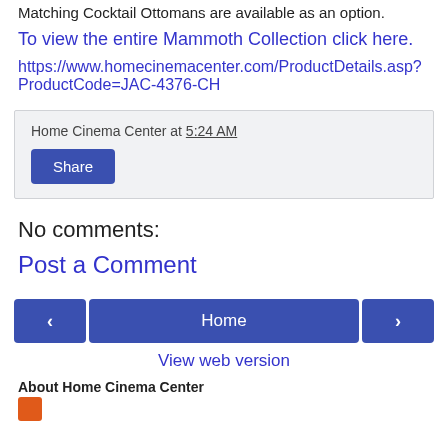Matching Cocktail Ottomans are available as an option.
To view the entire Mammoth Collection click here.
https://www.homecinemacenter.com/ProductDetails.asp?ProductCode=JAC-4376-CH
Home Cinema Center at 5:24 AM
Share
No comments:
Post a Comment
Home
View web version
About Home Cinema Center